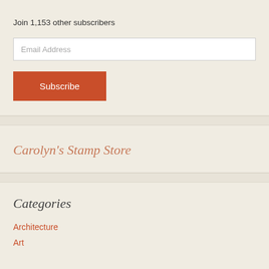Join 1,153 other subscribers
[Figure (other): Email Address input field]
[Figure (other): Subscribe button]
Carolyn's Stamp Store
Categories
Architecture
Art